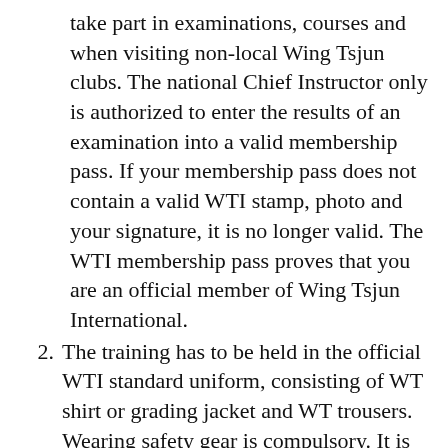take part in examinations, courses and when visiting non-local Wing Tsjun clubs. The national Chief Instructor only is authorized to enter the results of an examination into a valid membership pass. If your membership pass does not contain a valid WTI stamp, photo and your signature, it is no longer valid. The WTI membership pass proves that you are an official member of Wing Tsjun International.
2. The training has to be held in the official WTI standard uniform, consisting of WT shirt or grading jacket and WT trousers. Wearing safety gear is compulsory. It is thoughtless to practice without them. For safety reasons please do not wear necklaces, bracelets, rings etc.
3. Do not take drugs or alcohol before class!
4. During your training you get very close to your partner. Keep your body and clothes clean. Avoid body odour and bad breath. Please keep away from school if you have an infectious